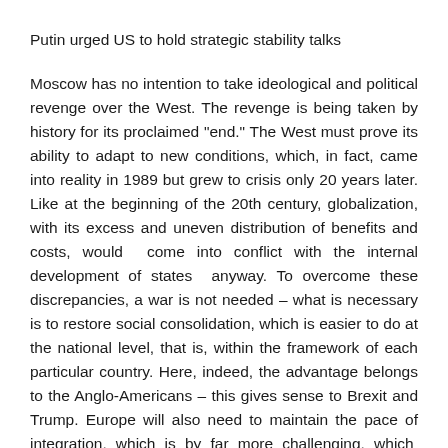Putin urged US to hold strategic stability talks
Moscow has no intention to take ideological and political revenge over the West. The revenge is being taken by history for its proclaimed "end." The West must prove its ability to adapt to new conditions, which, in fact, came into reality in 1989 but grew to crisis only 20 years later. Like at the beginning of the 20th century, globalization, with its excess and uneven distribution of benefits and costs, would come into conflict with the internal development of states anyway. To overcome these discrepancies, a war is not needed – what is necessary is to restore social consolidation, which is easier to do at the national level, that is, within the framework of each particular country. Here, indeed, the advantage belongs to the Anglo-Americans – this gives sense to Brexit and Trump. Europe will also need to maintain the pace of integration, which is by far more challenging, which explains the intensity of the struggle over Britain's exit from the European Union.
Over the next 10 years, the economic and technological power of states, in tandem with social policy, will lead to a geopolitical re-